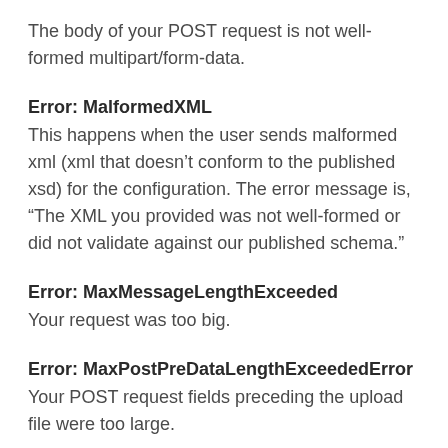The body of your POST request is not well-formed multipart/form-data.
Error: MalformedXML
This happens when the user sends malformed xml (xml that doesn't conform to the published xsd) for the configuration. The error message is, “The XML you provided was not well-formed or did not validate against our published schema.”
Error: MaxMessageLengthExceeded
Your request was too big.
Error: MaxPostPreDataLengthExceededError
Your POST request fields preceding the upload file were too large.